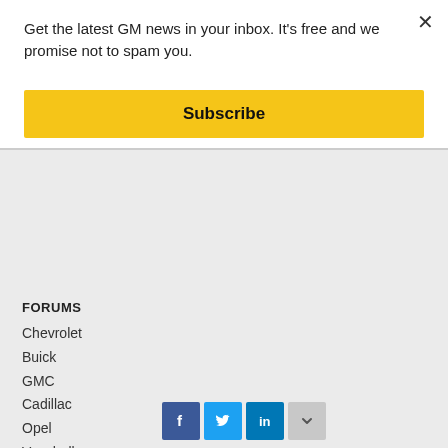Get the latest GM news in your inbox. It's free and we promise not to spam you.
Subscribe
FORUMS
Chevrolet
Buick
GMC
Cadillac
Opel
Vauxhall